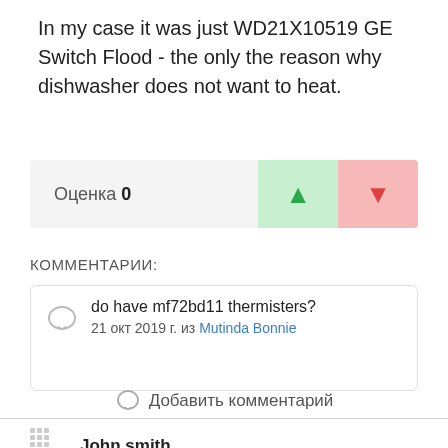In my case it was just WD21X10519 GE Switch Flood - the only the reason why dishwasher does not want to heat.
Оценка 0
КОММЕНТАРИИ:
do have mf72bd11 thermisters?
21 окт 2019 г. из Mutinda Bonnie
Добавить комментарий
John smith